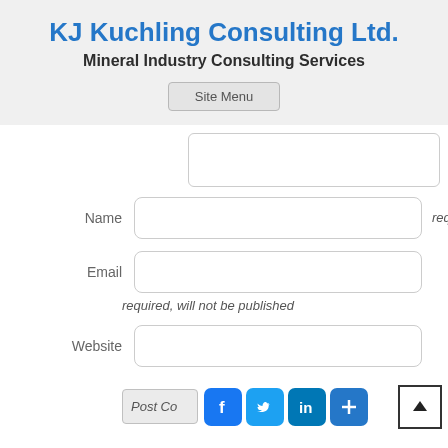KJ Kuchling Consulting Ltd.
Mineral Industry Consulting Services
Site Menu
Name
required
Email
required, will not be published
Website
Post Co
[Figure (screenshot): Social sharing icons: Facebook (blue), Twitter (blue), LinkedIn (blue), More (blue plus icon)]